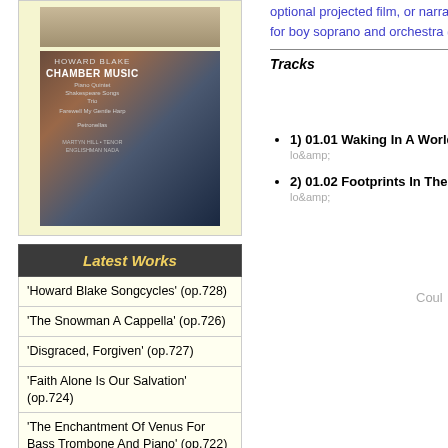[Figure (photo): Album cover for Howard Blake Chamber Music]
Latest Works
'Howard Blake Songcycles' (op.728)
'The Snowman A Cappella' (op.726)
'Disgraced, Forgiven' (op.727)
'Faith Alone Is Our Salvation' (op.724)
'The Enchantment Of Venus For Bass Trombone And Piano' (op.722)
'Lorelay' (op.721)
'Country Sunday' (op.707)
'*pennillion For Tenor Recorder
performed with optional projected film, or narration, or both), for boy soprano and orchestra (October 1983)
Tracks
1) 01.01 Waking In A World Of Snow
2) 01.02 Footprints In The Snow